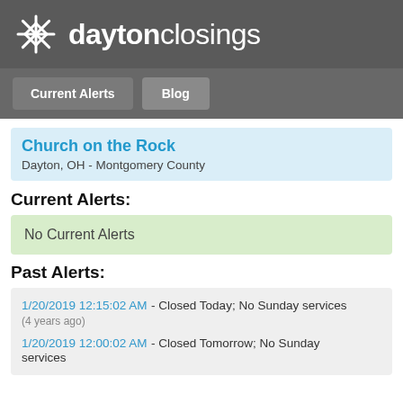daytonclosings
Current Alerts | Blog
Church on the Rock
Dayton, OH - Montgomery County
Current Alerts:
No Current Alerts
Past Alerts:
1/20/2019 12:15:02 AM - Closed Today; No Sunday services (4 years ago)
1/20/2019 12:00:02 AM - Closed Tomorrow; No Sunday services